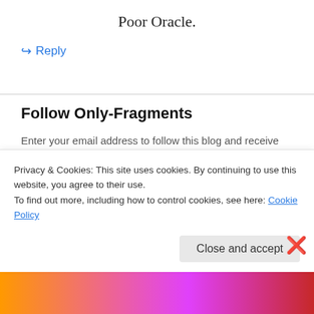Poor Oracle.
↳ Reply
Follow Only-Fragments
Enter your email address to follow this blog and receive notifications of new posts by email.
Enter your email address
Privacy & Cookies: This site uses cookies. By continuing to use this website, you agree to their use.
To find out more, including how to control cookies, see here: Cookie Policy
Close and accept